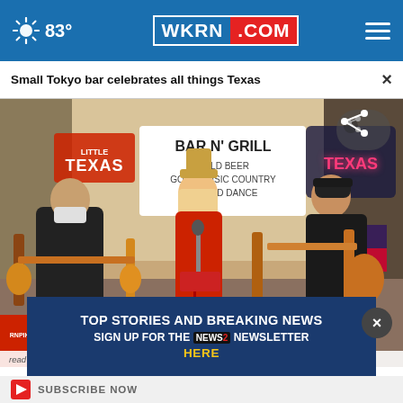83° WKRN.COM ☰
Small Tokyo bar celebrates all things Texas
[Figure (photo): A band performing on a small stage inside a Texas-themed bar in Tokyo called 'Little Texas Bar N' Grill'. Sign reads: BAR N' GRILL, COLD BEER, GOOD MUSIC COUNTRY, LIVE CD DANCE. Three musicians visible: guitarist on left wearing mask, female vocalist in red dress wearing cowboy hat in center, guitarist on right. Sunflowers visible, Gulf oil sign, neon Texas sign in background.]
read and agree to the CivicScience Privacy Policy and Terms of Service
TOP STORIES AND BREAKING NEWS SIGN UP FOR THE NEWS2 NEWSLETTER HERE
SUBSCRIBE NOW